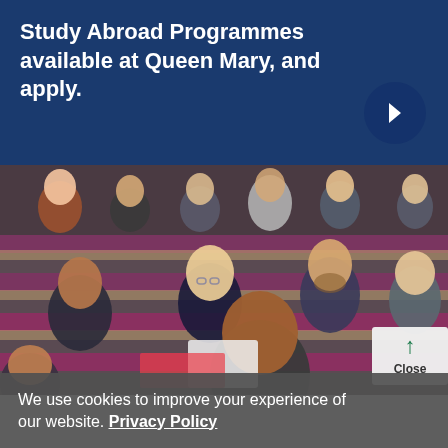Study Abroad Programmes available at Queen Mary, and apply.
[Figure (photo): Students sitting in a university lecture hall, smiling and engaged, with tiered seating and red/purple chairs visible.]
We use cookies to improve your experience of our website. Privacy Policy